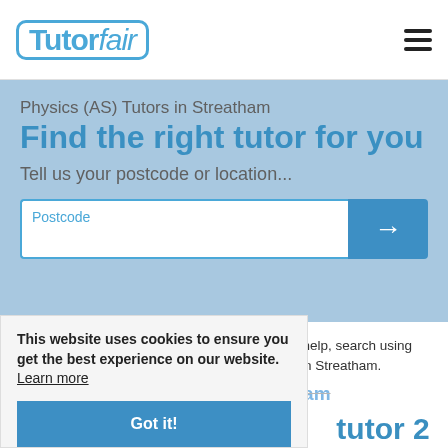[Figure (logo): TutorFair logo with blue bubble border and italic fair text]
Physics (AS) Tutors in Streatham
Find the right tutor for you
Tell us your postcode or location...
Our AS Physics tutors in Streatham are here to help, search using your postcode to find the best AS Physics tutor in Streatham.
13 AS Physics Tutors in Streatham
This website uses cookies to ensure you get the best experience on our website. Learn more
Got it!